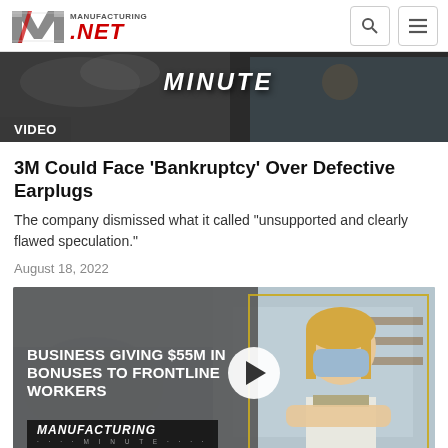Manufacturing.net
[Figure (screenshot): Video thumbnail strip showing 'MINUTE' text overlay on dark background with industrial imagery]
VIDEO
3M Could Face 'Bankruptcy' Over Defective Earplugs
The company dismissed what it called "unsupported and clearly flawed speculation."
August 18, 2022
[Figure (screenshot): Video thumbnail showing 'BUSINESS GIVING $55M IN BONUSES TO FRONTLINE WORKERS' with a masked woman worker and Manufacturing Minute logo]